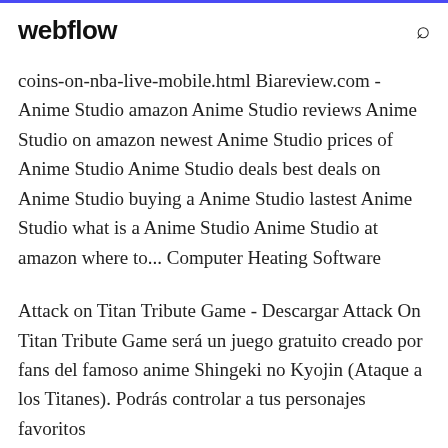webflow
coins-on-nba-live-mobile.html Biareview.com - Anime Studio amazon Anime Studio reviews Anime Studio on amazon newest Anime Studio prices of Anime Studio Anime Studio deals best deals on Anime Studio buying a Anime Studio lastest Anime Studio what is a Anime Studio Anime Studio at amazon where to... Computer Heating Software
Attack on Titan Tribute Game - Descargar Attack On Titan Tribute Game será un juego gratuito creado por fans del famoso anime Shingeki no Kyojin (Ataque a los Titanes). Podrás controlar a tus personajes favoritos